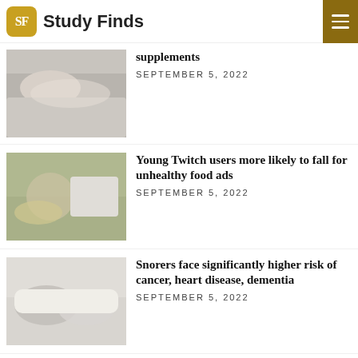Study Finds
supplements
SEPTEMBER 5, 2022
[Figure (photo): Person lying in bed under blanket]
Young Twitch users more likely to fall for unhealthy food ads
SEPTEMBER 5, 2022
[Figure (photo): Young girl with glasses eating snacks near laptop]
Snorers face significantly higher risk of cancer, heart disease, dementia
SEPTEMBER 5, 2022
[Figure (photo): Couple in bed, one snoring]
Break a sweat for your brain: Exercise protects aging synapses
[Figure (photo): People exercising in gym]